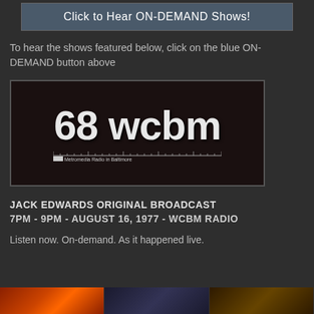[Figure (other): Button: Click to Hear ON-DEMAND Shows!]
To hear the shows featured below, click on the blue ON-DEMAND button above
[Figure (logo): 68 WCBM - Metromedia Radio in Baltimore logo on dark background with ruler graphic]
JACK EDWARDS ORIGINAL BROADCAST
7PM - 9PM - AUGUST 16, 1977 - WCBM RADIO
Listen now. On-demand. As it happened live.
[Figure (photo): Partial strip of images at bottom of page]